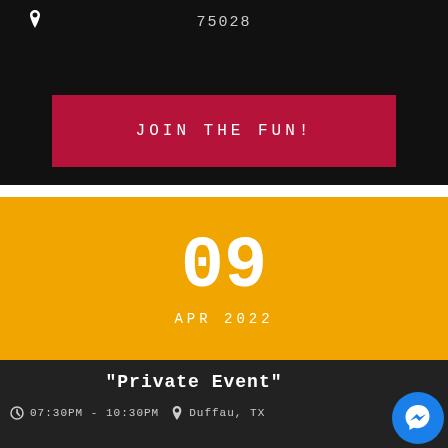75028
JOIN THE FUN!
09
APR 2022
"Private Event"
07:30PM - 10:30PM   Duffau, TX